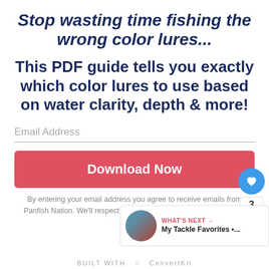Stop wasting time fishing the wrong color lures...
This PDF guide tells you exactly which color lures to use based on water clarity, depth & more!
Email Address
Download Now
By entering your email address you agree to receive emails from Panfish Nation. We'll respect your privacy and you can unsubscri...
WHAT'S NEXT → My Tackle Favorites •...
BUILT WITH ConvertKit